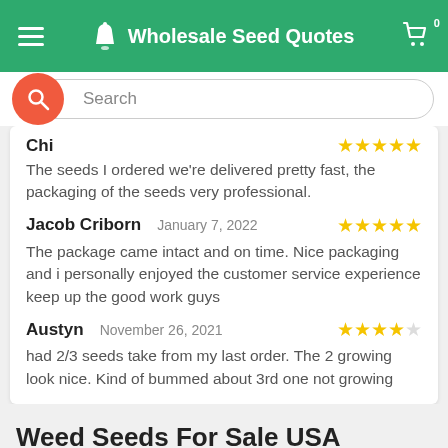Wholesale Seed Quotes
Chi... The seeds I ordered we're delivered pretty fast, the packaging of the seeds very professional.
Jacob Criborn  January 7, 2022  ★★★★★
The package came intact and on time. Nice packaging and i personally enjoyed the customer service experience keep up the good work guys
Austyn  November 26, 2021  ★★★★☆
had 2/3 seeds take from my last order. The 2 growing look nice. Kind of bummed about 3rd one not growing
Weed Seeds For Sale USA